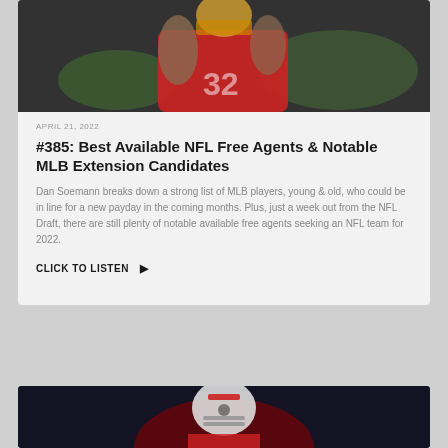[Figure (photo): NFL player in red Kansas City Chiefs uniform, number 32, with tattoos on arms, raising hand, blurred crowd background]
APRIL 21, 2022
#385: Best Available NFL Free Agents & Notable MLB Extension Candidates
Dan Soemann breaks down a strong list of MLB players, young & old, who could be in line for a new payday in the coming months. Plus, just a week out from the NFL Draft, there are still plenty of notable available free agents seeking an NFL team for 2022.
CLICK TO LISTEN ▶
[Figure (photo): San Francisco 49ers player in white helmet with red stripe and red uniform, on field, dark blurred background]